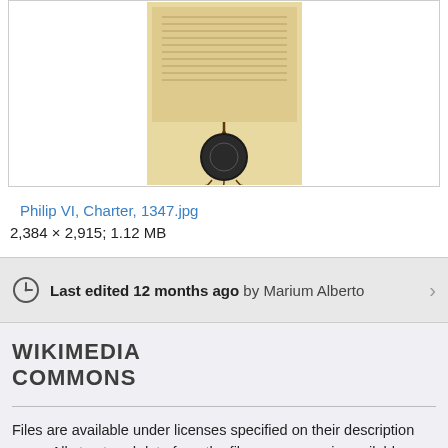[Figure (photo): Historical charter document with wax seal, Philip VI Charter 1347]
Philip VI, Charter, 1347.jpg
2,384 × 2,915; 1.12 MB
Last edited 12 months ago by Marium Alberto
[Figure (logo): Wikimedia Commons logo text]
Files are available under licenses specified on their description page. All structured data from the file namespace is available under the Creative Commons CC0 License; all unstructured text is available under the Creative Commons Attribution-ShareAlike License; additional terms may apply. By using this site, you agree